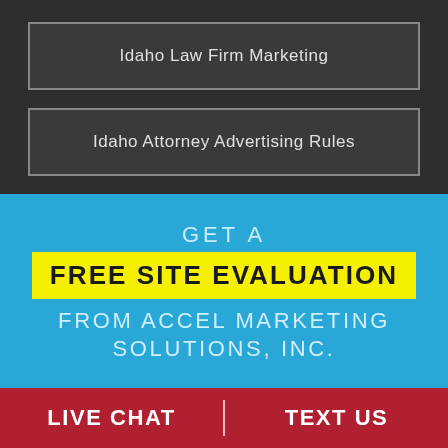Idaho Law Firm Marketing
Idaho Attorney Advertising Rules
GET A FREE SITE EVALUATION FROM ACCEL MARKETING SOLUTIONS, INC.
LIVE CHAT
TEXT US